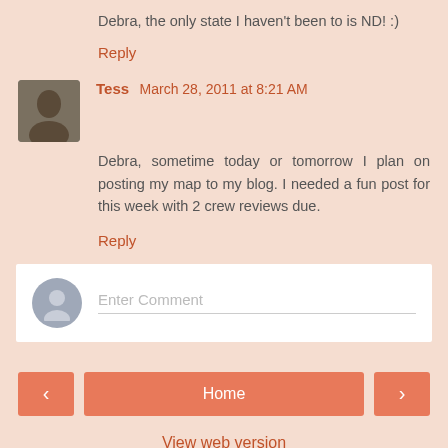Debra, the only state I haven't been to is ND! :)
Reply
Tess March 28, 2011 at 8:21 AM
Debra, sometime today or tomorrow I plan on posting my map to my blog. I needed a fun post for this week with 2 crew reviews due.
Reply
[Figure (other): Enter comment input box with user avatar placeholder]
< Home >
View web version
Powered by Blogger.